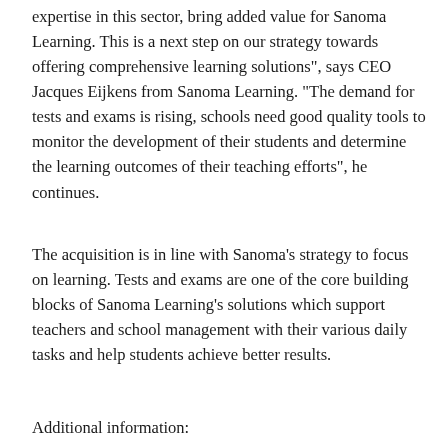expertise in this sector, bring added value for Sanoma Learning. This is a next step on our strategy towards offering comprehensive learning solutions", says CEO Jacques Eijkens from Sanoma Learning. "The demand for tests and exams is rising, schools need good quality tools to monitor the development of their students and determine the learning outcomes of their teaching efforts", he continues.
The acquisition is in line with Sanoma's strategy to focus on learning. Tests and exams are one of the core building blocks of Sanoma Learning's solutions which support teachers and school management with their various daily tasks and help students achieve better results.
Additional information: